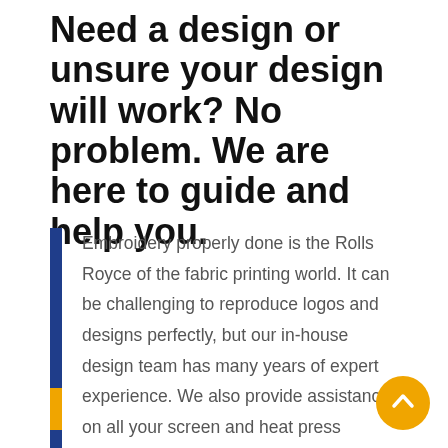Need a design or unsure your design will work? No problem. We are here to guide and help you.
Embroidery properly done is the Rolls Royce of the fabric printing world. It can be challenging to reproduce logos and designs perfectly, but our in-house design team has many years of expert experience. We also provide assistance on all your screen and heat press printing needs.